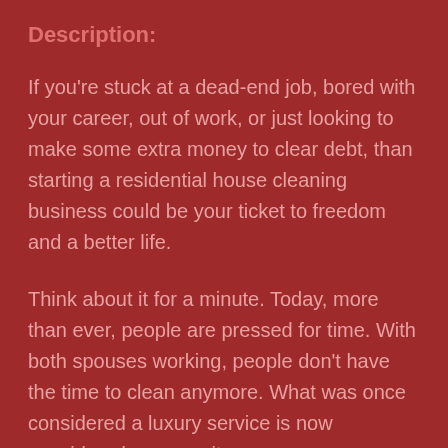Description:
If you're stuck at a dead-end job, bored with your career, out of work, or just looking to make some extra money to clear debt, than starting a residential house cleaning business could be your ticket to freedom and a better life.
Think about it for a minute. Today, more than ever, people are pressed for time. With both spouses working, people don't have the time to clean anymore. What was once considered a luxury service is now considered a necessity